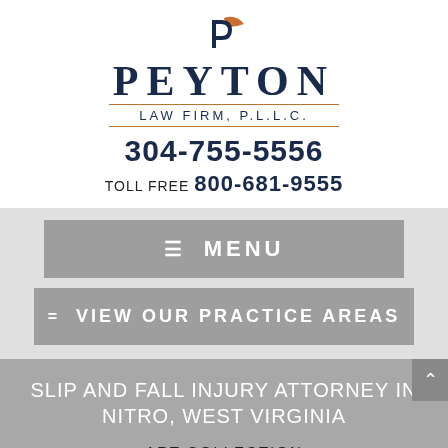[Figure (logo): Peyton Law Firm logo with stylized P icon in navy and orange]
PEYTON
LAW FIRM, P.L.L.C.
304-755-5556
TOLL FREE 800-681-9555
≡ MENU
≡ VIEW OUR PRACTICE AREAS
SLIP AND FALL INJURY ATTORNEY IN NITRO, WEST VIRGINIA
ART COLLECTION
COMMUNITY INVOLVEMENT
REPORTED CASES